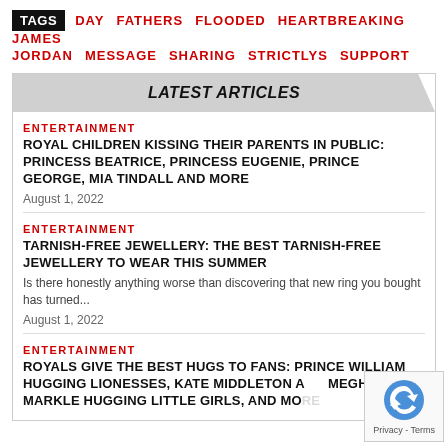TAGS  DAY  FATHERS  FLOODED  HEARTBREAKING  JAMES  JORDAN  MESSAGE  SHARING  STRICTLYS  SUPPORT
LATEST ARTICLES
ENTERTAINMENT
ROYAL CHILDREN KISSING THEIR PARENTS IN PUBLIC: PRINCESS BEATRICE, PRINCESS EUGENIE, PRINCE GEORGE, MIA TINDALL AND MORE
August 1, 2022
ENTERTAINMENT
TARNISH-FREE JEWELLERY: THE BEST TARNISH-FREE JEWELLERY TO WEAR THIS SUMMER
Is there honestly anything worse than discovering that new ring you bought has turned...
August 1, 2022
ENTERTAINMENT
ROYALS GIVE THE BEST HUGS TO FANS: PRINCE WILLIAM HUGGING LIONESSES, KATE MIDDLETON AND MEGHAN MARKLE HUGGING LITTLE GIRLS, AND MORE